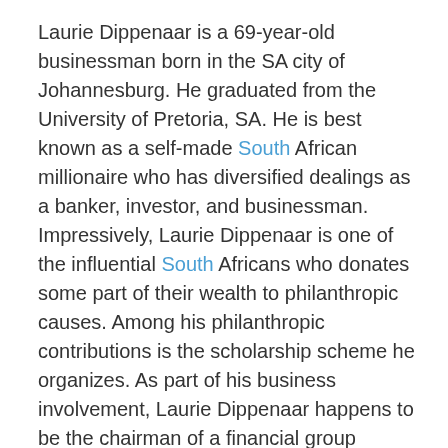Laurie Dippenaar is a 69-year-old businessman born in the SA city of Johannesburg. He graduated from the University of Pretoria, SA. He is best known as a self-made South African millionaire who has diversified dealings as a banker, investor, and businessman. Impressively, Laurie Dippenaar is one of the influential South Africans who donates some part of their wealth to philanthropic causes. Among his philanthropic contributions is the scholarship scheme he organizes. As part of his business involvement, Laurie Dippenaar happens to be the chairman of a financial group known as FirstRand. Regarded as one of the richest men in South Africa, Laurie Dippenaar's net worth is valued at R8.5 billion.